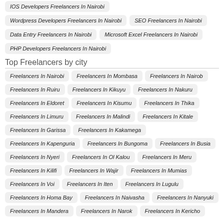IOS Developers Freelancers In Nairobi
Wordpress Developers Freelancers In Nairobi
SEO Freelancers In Nairobi
Data Entry Freelancers In Nairobi
Microsoft Excel Freelancers In Nairobi
PHP Developers Freelancers In Nairobi
Top Freelancers by city
Freelancers In Nairobi
Freelancers In Mombasa
Freelancers In Nairob
Freelancers In Ruiru
Freelancers In Kikuyu
Freelancers In Nakuru
Freelancers In Eldoret
Freelancers In Kisumu
Freelancers In Thika
Freelancers In Limuru
Freelancers In Malindi
Freelancers In Kitale
Freelancers In Garissa
Freelancers In Kakamega
Freelancers In Kapenguria
Freelancers In Bungoma
Freelancers In Busia
Freelancers In Nyeri
Freelancers In Ol Kalou
Freelancers In Meru
Freelancers In Kilifi
Freelancers In Wajir
Freelancers In Mumias
Freelancers In Voi
Freelancers In Iten
Freelancers In Lugulu
Freelancers In Homa Bay
Freelancers In Naivasha
Freelancers In Nanyuki
Freelancers In Mandera
Freelancers In Narok
Freelancers In Kericho